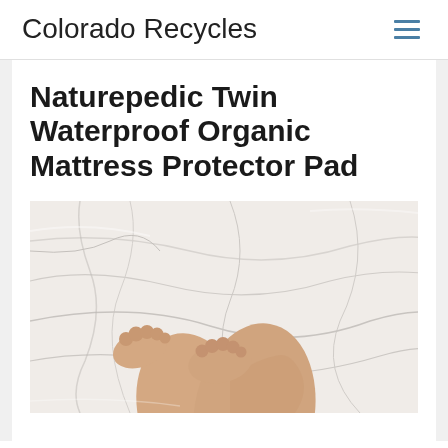Colorado Recycles
Naturepedic Twin Waterproof Organic Mattress Protector Pad
[Figure (photo): Person's bare legs and feet lying on white wrinkled bed sheets, photographed from above]